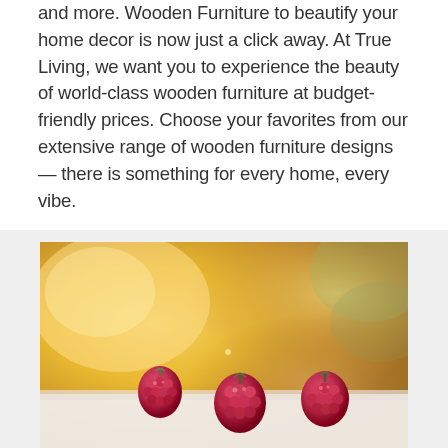and more. Wooden Furniture to beautify your home decor is now just a click away. At True Living, we want you to experience the beauty of world-class wooden furniture at budget-friendly prices. Choose your favorites from our extensive range of wooden furniture designs — there is something for every home, every vibe.
[Figure (photo): Close-up photo of raspberries on a white surface with a warm yellow/golden bokeh background]